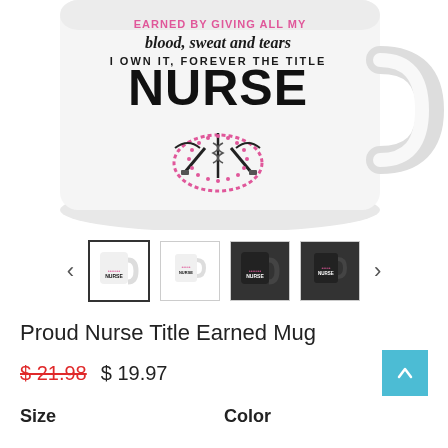[Figure (photo): White ceramic mug with nurse-themed graphic showing 'blood, sweat and tears I OWN IT, FOREVER THE TITLE NURSE' text with medical caduceus and syringes design in pink and black.]
[Figure (photo): Thumbnail gallery row showing 4 mug variants: two white mugs and two black mugs with the same nurse design, with left and right navigation arrows.]
Proud Nurse Title Earned Mug
$21.98  $19.97
Size    Color